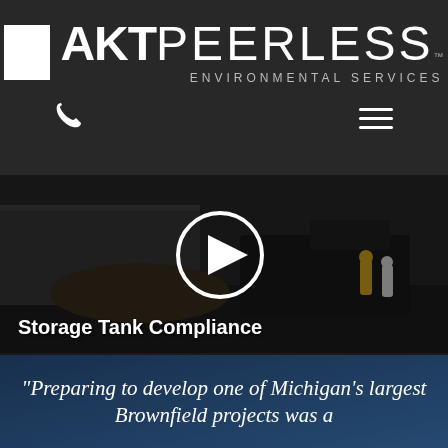AKT PEERLESS™ ENVIRONMENTAL SERVICES
[Figure (logo): AKT Peerless Environmental Services logo with white square icon, bold AKT text, and PEERLESS in lighter weight, ENVIRONMENTAL SERVICES subtitle]
[Figure (screenshot): Video thumbnail showing construction/excavation scene with workers in high-visibility gear and heavy machinery. Large white play button circle overlay in center. Text overlay at bottom: Storage Tank Compliance]
Storage Tank Compliance
"Preparing to develop one of Michigan's largest Brownfield projects was a